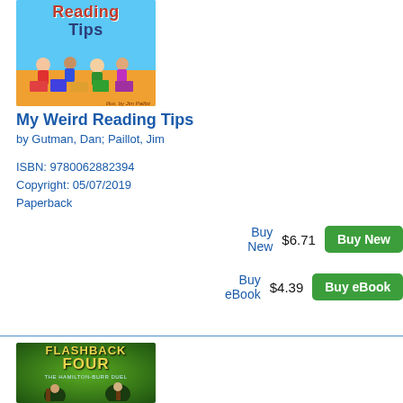[Figure (illustration): Book cover for 'My Weird Reading Tips' showing colorful children with books on blue and orange background]
My Weird Reading Tips
by Gutman, Dan; Paillot, Jim
ISBN: 9780062882394
Copyright: 05/07/2019
Paperback
Buy New    $6.71
Buy eBook    $4.39
[Figure (illustration): Book cover for 'Flashback Four: The Hamilton-Burr Duel' showing illustrated figures on green background]